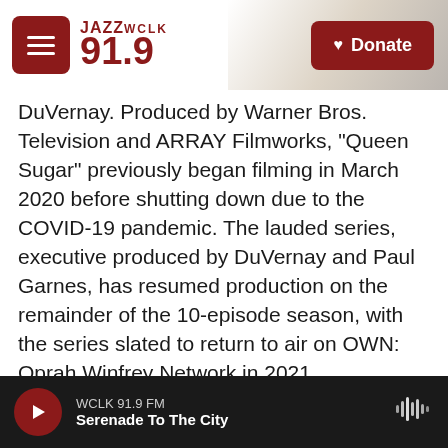JAZZ WCLK 91.9 | Donate
DuVernay. Produced by Warner Bros. Television and ARRAY Filmworks, “Queen Sugar” previously began filming in March 2020 before shutting down due to the COVID-19 pandemic. The lauded series, executive produced by DuVernay and Paul Garnes, has resumed production on the remainder of the 10-episode season, with the series slated to return to air on OWN: Oprah Winfrey Network in 2021.
As filming halted and the world faced multiple upheavals throughout 2020, DuVernay decided to completely revamp the season to address the very real issues our country is facing through the lens of the beloved Bordelon family and the fictional...
WCLK 91.9 FM | Serenade To The City